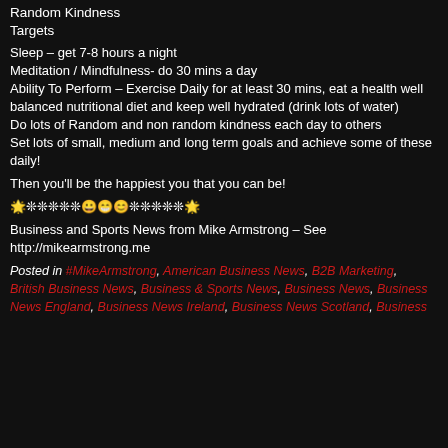Random Kindness
Targets
Sleep – get 7-8 hours a night
Meditation / Mindfulness- do 30 mins a day
Ability To Perform – Exercise Daily for at least 30 mins, eat a health well balanced nutritional diet and keep well hydrated (drink lots of water)
Do lots of Random and non random kindness each day to others
Set lots of small, medium and long term goals and achieve some of these daily!
Then you'll be the happiest you that you can be!
🌟❊❊❊❊❊😀😁😊❊❊❊❊❊🌟
Business and Sports News from Mike Armstrong – See http://mikearmstrong.me
Posted in #MikeArmstrong, American Business News, B2B Marketing, British Business News, Business & Sports News, Business News, Business News England, Business News Ireland, Business News Scotland, Business